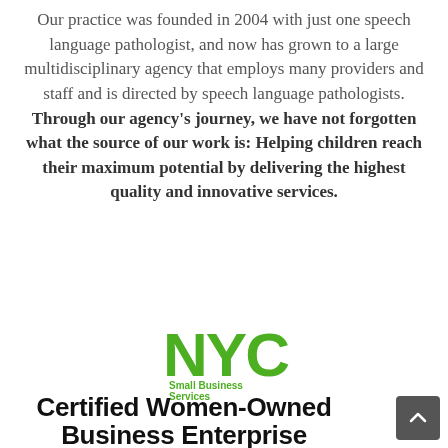Our practice was founded in 2004 with just one speech language pathologist, and now has grown to a large multidisciplinary agency that employs many providers and staff and is directed by speech language pathologists. Through our agency's journey, we have not forgotten what the source of our work is: Helping children reach their maximum potential by delivering the highest quality and innovative services.
[Figure (logo): NYC Small Business Services logo in green]
Certified Women-Owned Business Enterprise